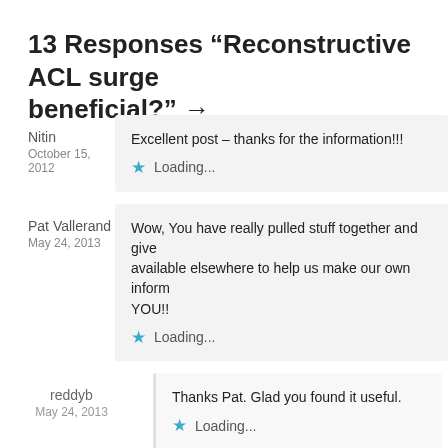13 Responses “Reconstructive ACL surge… beneficial?” →
Nitin
October 15, 2012
Excellent post – thanks for the information!!!
★ Loading...
Pat Vallerand
May 24, 2013
Wow, You have really pulled stuff together and give… available elsewhere to help us make our own inform… YOU!!
★ Loading...
reddyb
May 24, 2013
Thanks Pat. Glad you found it useful.
★ Loading...